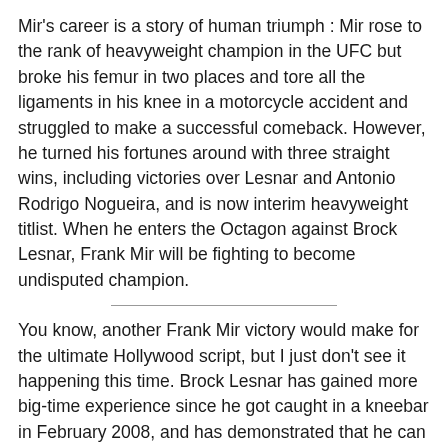Mir's career is a story of human triumph : Mir rose to the rank of heavyweight champion in the UFC but broke his femur in two places and tore all the ligaments in his knee in a motorcycle accident and struggled to make a successful comeback. However, he turned his fortunes around with three straight wins, including victories over Lesnar and Antonio Rodrigo Nogueira, and is now interim heavyweight titlist. When he enters the Octagon against Brock Lesnar, Frank Mir will be fighting to become undisputed champion.
You know, another Frank Mir victory would make for the ultimate Hollywood script, but I just don't see it happening this time. Brock Lesnar has gained more big-time experience since he got caught in a kneebar in February 2008, and has demonstrated that he can apply his wrestling pedigree to control fights, like he did against Herring.
Moreover, Lesnar's athletic strengths lie where Mir's weaknesses are. Mir would punish a lesser fighter from a distance with his boxing and kickboxing, and give him a little room and he will submit you. But Mir is kind of stiff and slow